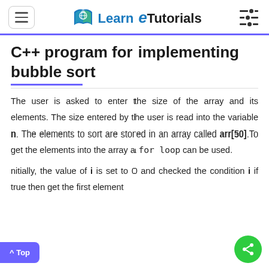Learn e Tutorials
C++ program for implementing bubble sort
The user is asked to enter the size of the array and its elements. The size entered by the user is read into the variable n. The elements to sort are stored in an array called arr[50].To get the elements into the array a for loop can be used.
Initially, the value of i is set to 0 and checked the condition i if true then get the first element